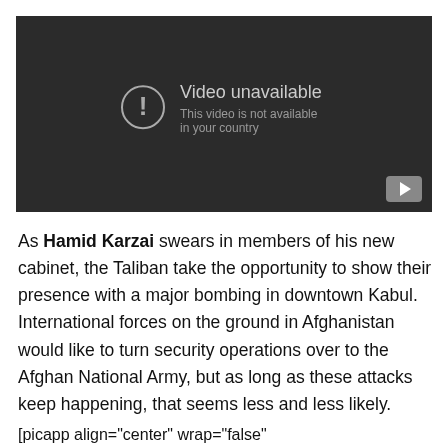[Figure (screenshot): YouTube video unavailable placeholder with dark background. Shows a circle exclamation icon, the text 'Video unavailable' and 'This video is not available in your country', and a YouTube play button in the bottom-right corner.]
As Hamid Karzai swears in members of his new cabinet, the Taliban take the opportunity to show their presence with a major bombing in downtown Kabul. International forces on the ground in Afghanistan would like to turn security operations over to the Afghan National Army, but as long as these attacks keep happening, that seems less and less likely.
[picapp align="center" wrap="false"